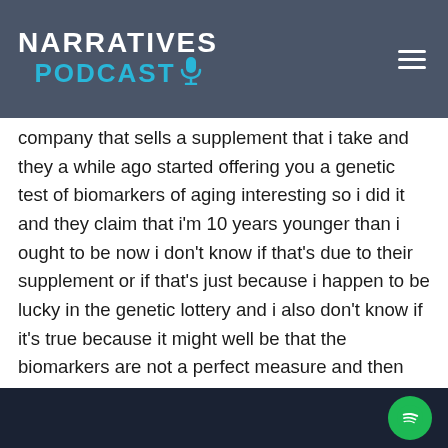NARRATIVES PODCAST
company that sells a supplement that i take and they a while ago started offering you a genetic test of biomarkers of aging interesting so i did it and they claim that i'm 10 years younger than i ought to be now i don't know if that's due to their supplement or if that's just because i happen to be lucky in the genetic lottery and i also don't know if it's true because it might well be that the biomarkers are not a perfect measure and then maybe this is a case where you know it's like heating the house by putting a match under the thermostat right i do that